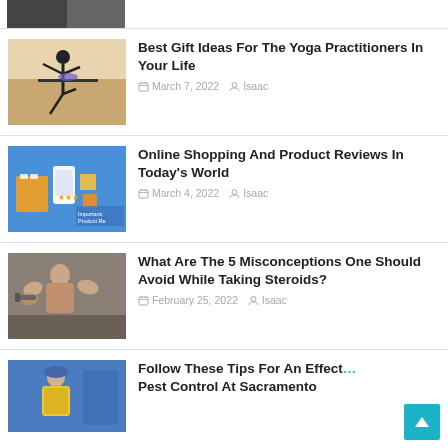[Figure (photo): Partial view of a person in a city (top-cropped)]
Best Gift Ideas For The Yoga Practitioners In Your Life — March 7, 2022 — Isaac
Online Shopping And Product Reviews In Today's World — March 4, 2022 — Isaac
What Are The 5 Misconceptions One Should Avoid While Taking Steroids? — February 25, 2022 — Isaac
Follow These Tips For An Effective Pest Control At Sacramento